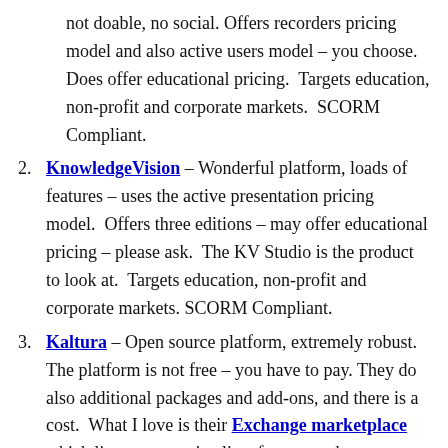not doable, no social. Offers recorders pricing model and also active users model – you choose. Does offer educational pricing.  Targets education, non-profit and corporate markets.  SCORM Compliant.
KnowledgeVision – Wonderful platform, loads of features – uses the active presentation pricing model.  Offers three editions – may offer educational pricing – please ask.  The KV Studio is the product to look at.  Targets education, non-profit and corporate markets. SCORM Compliant.
Kaltura – Open source platform, extremely robust.  The platform is not free – you have to pay. They do also additional packages and add-ons, and there is a cost.  What I love is their Exchange marketplace which lists an extensive list of partners that can